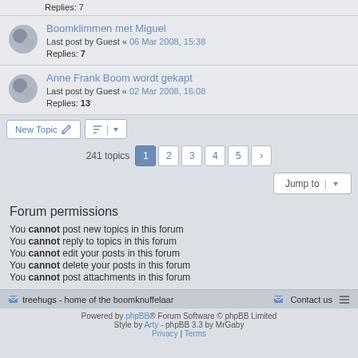Replies: 7
Boomklimmen met Miguel
Last post by Guest « 06 Mar 2008, 15:38
Replies: 7
Anne Frank Boom wordt gekapt
Last post by Guest « 02 Mar 2008, 16:08
Replies: 13
New Topic | sort | 241 topics 1 2 3 4 5 >
Jump to
Forum permissions
You cannot post new topics in this forum
You cannot reply to topics in this forum
You cannot edit your posts in this forum
You cannot delete your posts in this forum
You cannot post attachments in this forum
treehugs - home of the boomknuffelaar | Contact us | menu
Powered by phpBB® Forum Software © phpBB Limited
Style by Arty - phpBB 3.3 by MrGaby
Privacy | Terms